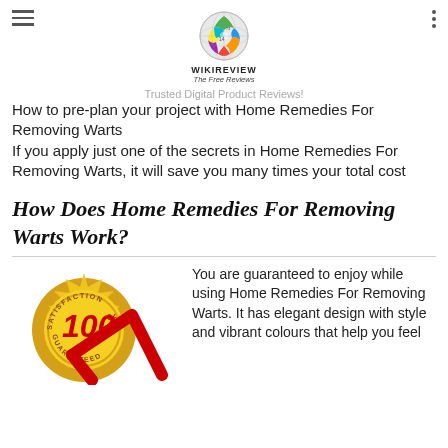[Figure (logo): WikiReview globe logo with colorful puzzle pieces, text WIKIREVIEW and The Free Reviews below]
Trusted Digital Product Reviews!
How to pre-plan your project with Home Remedies For Removing Warts
If you apply just one of the secrets in Home Remedies For Removing Warts, it will save you many times your total cost
How Does Home Remedies For Removing Warts Work?
[Figure (illustration): 100% Satisfaction Guaranteed gold badge seal with red checkmark]
You are guaranteed to enjoy while using Home Remedies For Removing Warts. It has elegant design with style and vibrant colours that help you feel